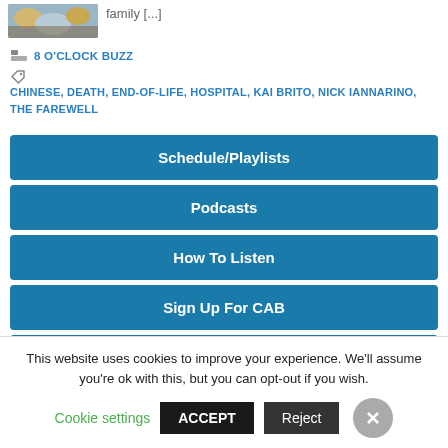[Figure (photo): Food photo showing dishes on a table]
family [...]
8 O'CLOCK BUZZ
CHINESE, DEATH, END-OF-LIFE, HOSPITAL, KAI BRITO, NICK IANNARINO, THE FAREWELL
Schedule/Playlists
Podcasts
How To Listen
Sign Up For CAB
This website uses cookies to improve your experience. We'll assume you're ok with this, but you can opt-out if you wish.
Cookie settings
ACCEPT
Reject